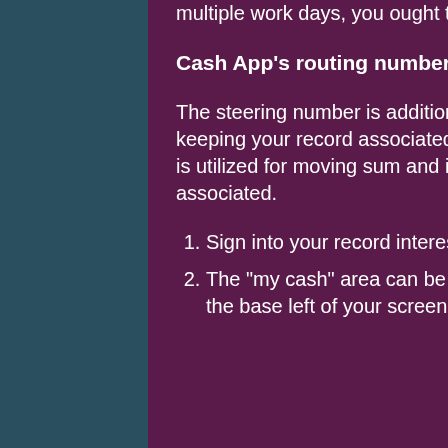multiple work days, you ought to promptly contact Cash App Customer Support.
Cash App's routing number can be found by following these steps.
The steering number is additionally required for direct stores as it assists you with keeping your record associated through various advances. The steering number is utilized for moving sum and is additionally utilized for keeping your record associated.
Sign into your record interestingly by introducing Cash App.
The "my cash" area can be gotten to by choosing the dollar image situated at the base left of your screen.